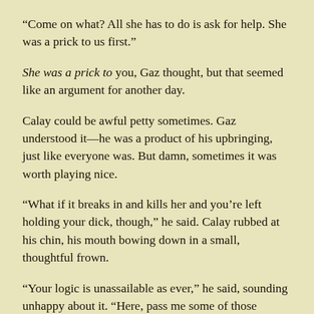“Come on what? All she has to do is ask for help. She was a prick to us first.”
She was a prick to you, Gaz thought, but that seemed like an argument for another day.
Calay could be awful petty sometimes. Gaz understood it—he was a product of his upbringing, just like everyone was. But damn, sometimes it was worth playing nice.
“What if it breaks in and kills her and you’re left holding your dick, though,” he said. Calay rubbed at his chin, his mouth bowing down in a small, thoughtful frown.
“Your logic is unassailable as ever,” he said, sounding unhappy about it. “Here, pass me some of those cartridges.”